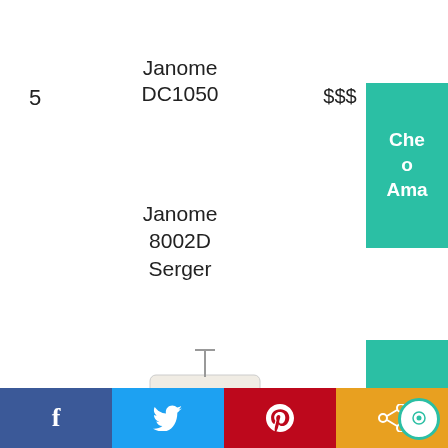5
Janome DC1050
$$$
Che
o
Ama
Janome 8002D Serger
[Figure (photo): Janome 8002D Serger product photo with accessories]
6
$$$
Che
o
Ama
Facebook | Twitter | Pinterest | Share